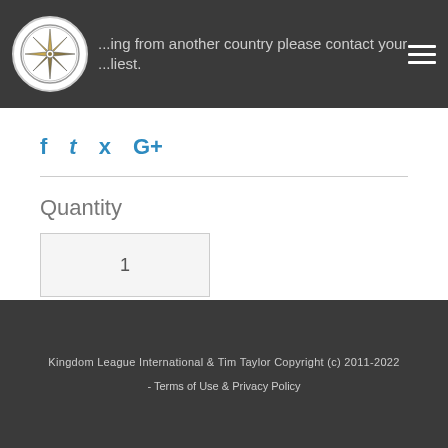...ing from another country please contact your ...liest.
f  t  p  G+
Quantity
1
ADD TO CART
Kingdom League International & Tim Taylor Copyright (c) 2011-2022  -  Terms of Use & Privacy Policy